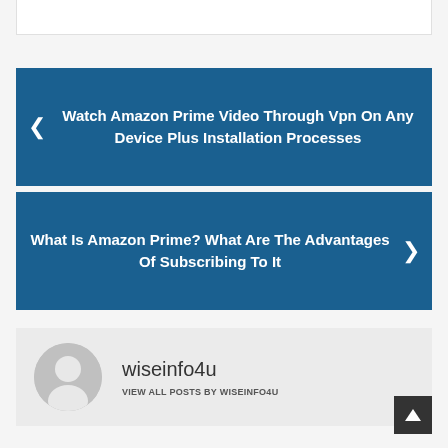Watch Amazon Prime Video Through Vpn On Any Device Plus Installation Processes
What Is Amazon Prime? What Are The Advantages Of Subscribing To It
wiseinfo4u
VIEW ALL POSTS BY WISEINFO4U